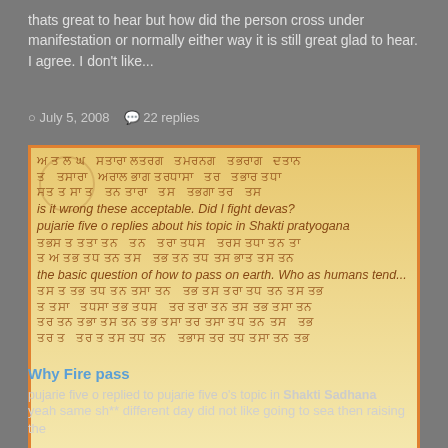thats great to hear but how did the person cross under manifestation or normally either way it is still great glad to hear. I agree. I don't like...
July 5, 2008   22 replies
[Figure (photo): A scanned manuscript or ancient text with Sanskrit/Gurmukhi script overlaid with semi-transparent English text questions such as 'is it wrong these acceptable. Did I fight devas?' and 'pujarie five o replies about his topic in Shakti pratyogana' and 'the basic question of how to pass on earth. Who as humans tend...'. The image has an orange border and fades from golden-tan at top to cream/white at bottom. There are circular watermark stamps visible.]
No thanks... Close this ✕
Why Fire pass
pujarie five o replied to pujarie five o's topic in Shakti Sadhana
yeah same sh** different day did not like going to sea then raising the